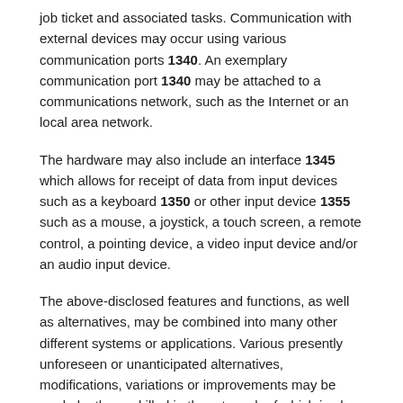job ticket and associated tasks. Communication with external devices may occur using various communication ports 1340. An exemplary communication port 1340 may be attached to a communications network, such as the Internet or an local area network.
The hardware may also include an interface 1345 which allows for receipt of data from input devices such as a keyboard 1350 or other input device 1355 such as a mouse, a joystick, a touch screen, a remote control, a pointing device, a video input device and/or an audio input device.
The above-disclosed features and functions, as well as alternatives, may be combined into many other different systems or applications. Various presently unforeseen or unanticipated alternatives, modifications, variations or improvements may be made by those skilled in the art, each of which is also intended to be encompassed by the disclosed embodiments.
Patent Citations (4)